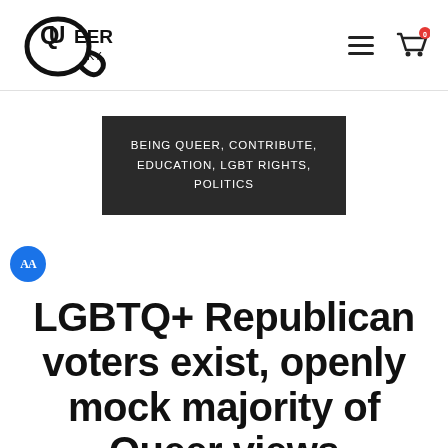QueerKY logo, hamburger menu, cart icon with badge 0
BEING QUEER, CONTRIBUTE, EDUCATION, LGBT RIGHTS, POLITICS
LGBTQ+ Republican voters exist, openly mock majority of Queer views